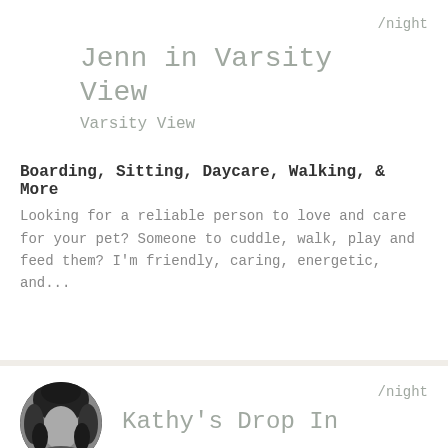/night
Jenn in Varsity View
Varsity View
Boarding, Sitting, Daycare, Walking, & More
Looking for a reliable person to love and care for your pet? Someone to cuddle, walk, play and feed them? I'm friendly, caring, energetic, and...
/night
Kathy's Drop In
[Figure (photo): Circular avatar photo of Kathy, a woman with dark curly hair, shown in black and white]